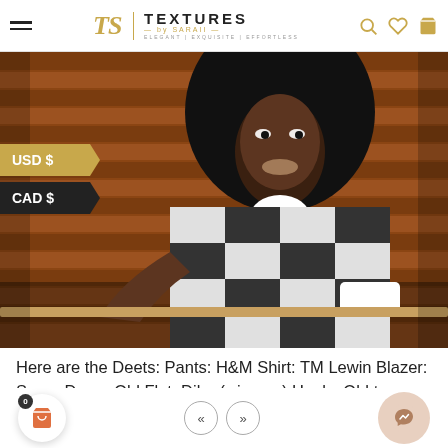Textures by Saraii — Elegant | Exquisite | Effortless
[Figure (photo): Woman smiling and posing in a black and white checkered blazer with curly hair, standing indoors near wooden paneled walls]
USD $
CAD $
Here are the Deets: Pants: H&M Shirt: TM Lewin Blazer: Super Duper Old Flat: Diba (winners) Heels: Old too Sweater: Hudson's Bay